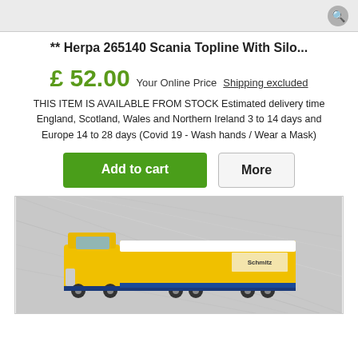[Figure (photo): Top partial image bar with a circular icon on the right side, background gray]
** Herpa 265140 Scania Topline With Silo...
£ 52.00 Your Online Price  Shipping excluded
THIS ITEM IS AVAILABLE FROM STOCK Estimated delivery time England, Scotland, Wales and Northern Ireland 3 to 14 days and Europe 14 to 28 days (Covid 19 - Wash hands / Wear a Mask)
[Figure (photo): Product photo of a yellow Scania truck model with Schmitz trailer, placed on reflective silver packaging, shown from above-side angle]